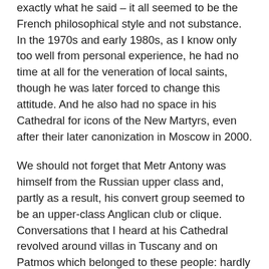exactly what he said – it all seemed to be the French philosophical style and not substance. In the 1970s and early 1980s, as I know only too well from personal experience, he had no time at all for the veneration of local saints, though he was later forced to change this attitude. And he also had no space in his Cathedral for icons of the New Martyrs, even after their later canonization in Moscow in 2000.
We should not forget that Metr Antony was himself from the Russian upper class and, partly as a result, his convert group seemed to be an upper-class Anglican club or clique. Conversations that I heard at his Cathedral revolved around villas in Tuscany and on Patmos which belonged to these people: hardly typical English people, who felt excluded by such snobbery. All this was combined with Metr Antony's marked emotionalism, his strong psychic abilities and affectations, which lacked the sobriety of the Orthodox Tradition. Some middle-aged women fell in love with him and, with his good looks and exotic and exaggerated Russian-